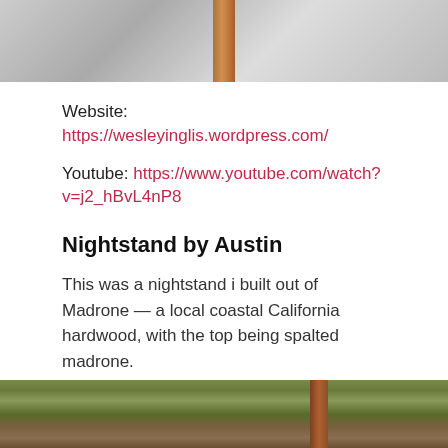[Figure (photo): Top portion of a woodworking piece (nightstand), showing a wooden leg against a light background]
Website: https://wesleyinglis.wordpress.com/
Youtube: https://www.youtube.com/watch?v=j2_hBvL4nP8
Nightstand by Austin
This was a nightstand i built out of Madrone — a local coastal California hardwood, with the top being spalted madrone.
Mortise and tenon joinery with a general finishes arm r seal satin urethane
[Figure (photo): Bottom portion showing outdoor grass and a wooden post, part of the nightstand or context photo]